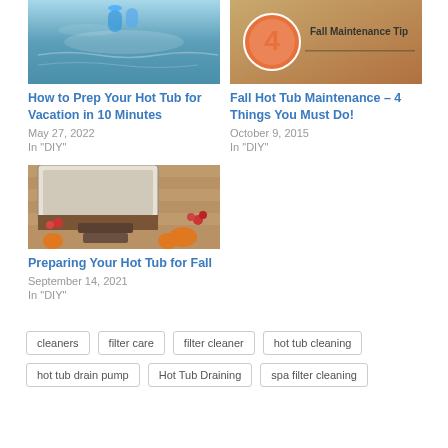[Figure (photo): Hot tub/pool with blue water and floating objects]
How to Prep Your Hot Tub for Vacation in 10 Minutes
May 27, 2022
In "DIY"
[Figure (photo): Fall maintenance tips image with orange circle and number 4]
Fall Hot Tub Maintenance – 4 Things You Must Do!
October 9, 2015
In "DIY"
[Figure (photo): Hot tub on wooden deck with fall decorations including pumpkins and flowers]
Preparing Your Hot Tub for Fall
September 14, 2021
In "DIY"
cleaners
filter care
filter cleaner
hot tub cleaning
hot tub drain pump
Hot Tub Draining
spa filter cleaning